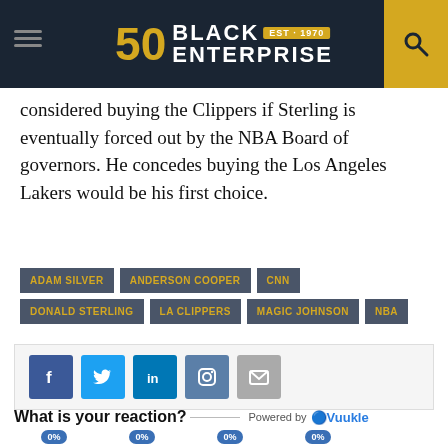Black Enterprise EST. 1970
considered buying the Clippers if Sterling is eventually forced out by the NBA Board of governors. He concedes buying the Los Angeles Lakers would be his first choice.
ADAM SILVER
ANDERSON COOPER
CNN
DONALD STERLING
LA CLIPPERS
MAGIC JOHNSON
NBA
[Figure (infographic): Social sharing buttons: Facebook, Twitter, LinkedIn, Instagram, Email]
What is your reaction?   Powered by Vuukle
[Figure (infographic): Reaction emojis with 0% labels: happy, neutral, wink, laughing/crying, angry]